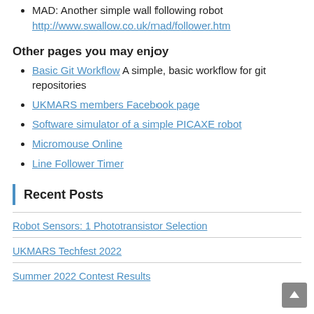MAD: Another simple wall following robot http://www.swallow.co.uk/mad/follower.htm
Other pages you may enjoy
Basic Git Workflow A simple, basic workflow for git repositories
UKMARS members Facebook page
Software simulator of a simple PICAXE robot
Micromouse Online
Line Follower Timer
Recent Posts
Robot Sensors: 1 Phototransistor Selection
UKMARS Techfest 2022
Summer 2022 Contest Results